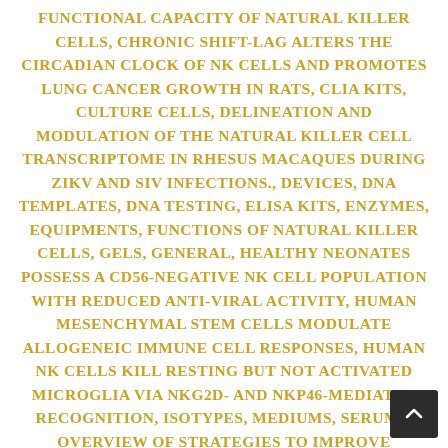FUNCTIONAL CAPACITY OF NATURAL KILLER CELLS, CHRONIC SHIFT-LAG ALTERS THE CIRCADIAN CLOCK OF NK CELLS AND PROMOTES LUNG CANCER GROWTH IN RATS, CLIA KITS, CULTURE CELLS, DELINEATION AND MODULATION OF THE NATURAL KILLER CELL TRANSCRIPTOME IN RHESUS MACAQUES DURING ZIKV AND SIV INFECTIONS., DEVICES, DNA TEMPLATES, DNA TESTING, ELISA KITS, ENZYMES, EQUIPMENTS, FUNCTIONS OF NATURAL KILLER CELLS, GELS, GENERAL, HEALTHY NEONATES POSSESS A CD56-NEGATIVE NK CELL POPULATION WITH REDUCED ANTI-VIRAL ACTIVITY, HUMAN MESENCHYMAL STEM CELLS MODULATE ALLOGENEIC IMMUNE CELL RESPONSES, HUMAN NK CELLS KILL RESTING BUT NOT ACTIVATED MICROGLIA VIA NKG2D- AND NKP46-MEDIATED RECOGNITION, ISOTYPES, MEDIUMS, SERUMS, OVERVIEW OF STRATEGIES TO IMPROVE THERAPY